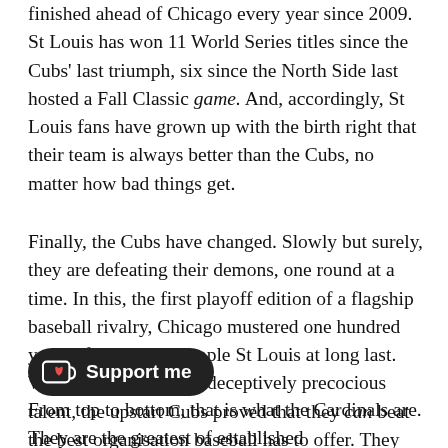finished ahead of Chicago every year since 2009. St Louis has won 11 World Series titles since the Cubs' last triumph, six since the North Side last hosted a Fall Classic game. And, accordingly, St Louis fans have grown up with the birth right that their team is always better than the Cubs, no matter how bad things get.
Finally, the Cubs have changed. Slowly but surely, they are defeating their demons, one round at a time. In this, the first playoff edition of a flagship baseball rivalry, Chicago mustered one hundred years of courage to topple St Louis at long last. With fearless play and deceptively precocious talent, the upstart Cubs proved that they can beat the best organisation baseball has to offer. They can win when it matters.
From top to bottom, that is what the Cardinals are. They are the greatest of established…